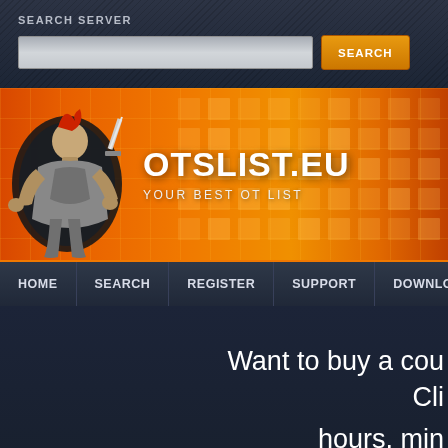SEARCH SERVER
[Figure (screenshot): Search input field and orange SEARCH button]
[Figure (logo): OTSLIST.EU banner with warrior character illustration on orange background. Text: OTSLIST.EU YOUR BEST OT LIST]
HOME | SEARCH | REGISTER | SUPPORT | DOWNLOAD | MORE
Want to buy a cou... Cli... hours, min...